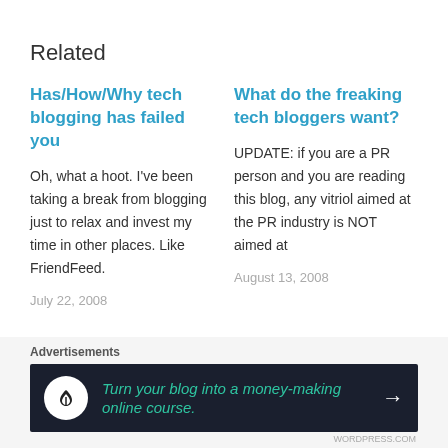Related
Has/How/Why tech blogging has failed you
Oh, what a hoot. I've been taking a break from blogging just to relax and invest my time in other places. Like FriendFeed.
July 22, 2008
What do the freaking tech bloggers want?
UPDATE: if you are a PR person and you are reading this blog, any vitriol aimed at the PR industry is NOT aimed at
August 13, 2008
Advertisements
[Figure (infographic): Advertisement banner: dark background with Teachable logo (tree icon in white circle), teal italic text 'Turn your blog into a money-making online course.' and white arrow pointing right.]